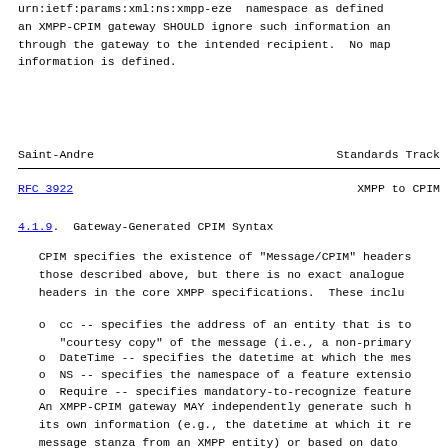urn:ietf:params:xml:ns:xmpp-eze namespace as defined an XMPP-CPIM gateway SHOULD ignore such information an through the gateway to the intended recipient. No map information is defined.
Saint-Andre                                    Standards Track
RFC 3922                                       XMPP to CPIM
4.1.9. Gateway-Generated CPIM Syntax
CPIM specifies the existence of "Message/CPIM" headers those described above, but there is no exact analogue headers in the core XMPP specifications. These inclu
o  cc -- specifies the address of an entity that is to "courtesy copy" of the message (i.e., a non-primary
o  DateTime -- specifies the datetime at which the mes
o  NS -- specifies the namespace of a feature extensio
o  Require -- specifies mandatory-to-recognize feature
An XMPP-CPIM gateway MAY independently generate such h its own information (e.g., the datetime at which it re message stanza from an XMPP entity) or based on dato